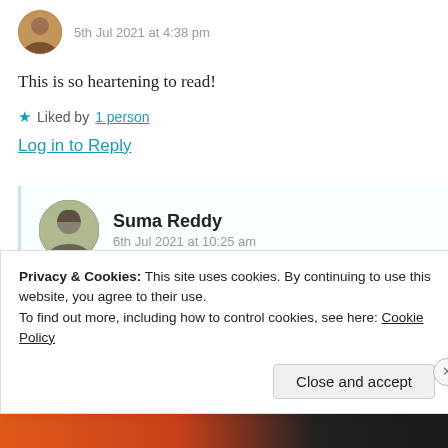5th Jul 2021 at 4:38 pm
This is so heartening to read!
★ Liked by 1 person
Log in to Reply
Suma Reddy
6th Jul 2021 at 10:25 am
Privacy & Cookies: This site uses cookies. By continuing to use this website, you agree to their use.
To find out more, including how to control cookies, see here: Cookie Policy
Close and accept